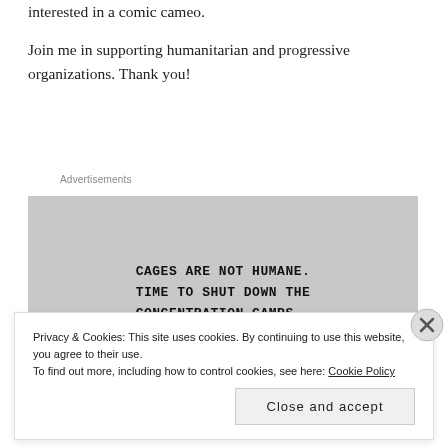interested in a comic cameo.
Join me in supporting humanitarian and progressive organizations. Thank you!
Advertisements
[Figure (illustration): Gray advertisement box with hand-drawn style text reading: CAGES ARE NOT HUMANE. TIME TO SHUT DOWN THE CONCENTRATION CAMPS.]
Privacy & Cookies: This site uses cookies. By continuing to use this website, you agree to their use.
To find out more, including how to control cookies, see here: Cookie Policy
Close and accept